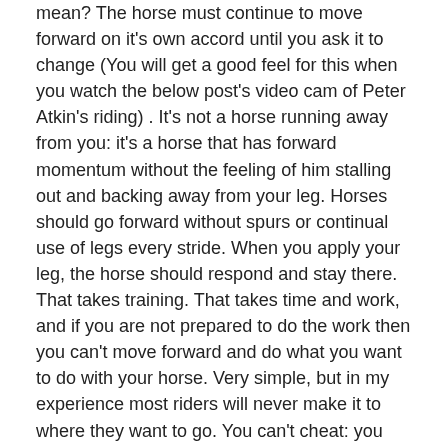mean? The horse must continue to move forward on it's own accord until you ask it to change (You will get a good feel for this when you watch the below post's video cam of Peter Atkin's riding) . It's not a horse running away from you: it's a horse that has forward momentum without the feeling of him stalling out and backing away from your leg. Horses should go forward without spurs or continual use of legs every stride. When you apply your leg, the horse should respond and stay there. That takes training. That takes time and work, and if you are not prepared to do the work then you can't move forward and do what you want to do with your horse. Very simple, but in my experience most riders will never make it to where they want to go. You can't cheat: you can't go from grade 2 to grade 12. It doesn't work that way.
Another thing you must do when jumping: never, EVER